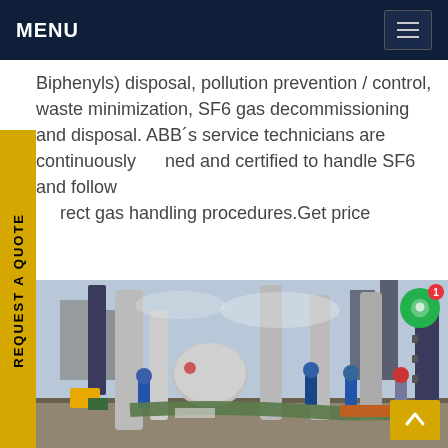MENU
Biphenyls) disposal, pollution prevention / control, waste minimization, SF6 gas decommissioning and disposal. ABB´s service technicians are continuously trained and certified to handle SF6 and follow correct gas handling procedures.Get price
[Figure (photo): Workers in blue coveralls and hard hats working at an electrical substation with large grey pipes, insulators, and high-voltage equipment. Industrial facility visible in background.]